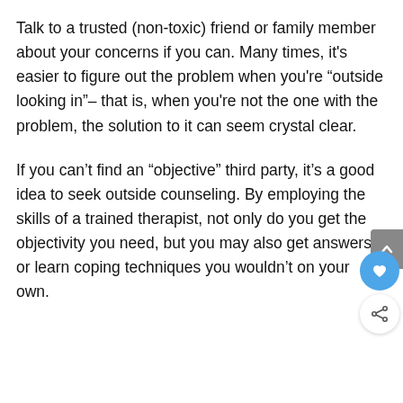Talk to a trusted (non-toxic) friend or family member about your concerns if you can. Many times, it's easier to figure out the problem when you're “outside looking in”– that is, when you're not the one with the problem, the solution to it can seem crystal clear.
If you can’t find an “objective” third party, it’s a good idea to seek outside counseling. By employing the skills of a trained therapist, not only do you get the objectivity you need, but you may also get answers or learn coping techniques you wouldn’t on your own.